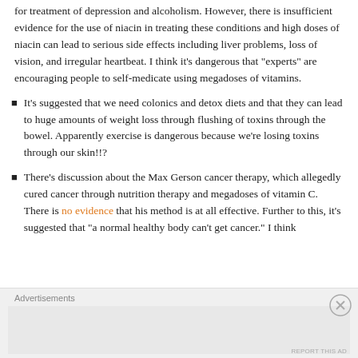for treatment of depression and alcoholism. However, there is insufficient evidence for the use of niacin in treating these conditions and high doses of niacin can lead to serious side effects including liver problems, loss of vision, and irregular heartbeat. I think it’s dangerous that “experts” are encouraging people to self-medicate using megadoses of vitamins.
It’s suggested that we need colonics and detox diets and that they can lead to huge amounts of weight loss through flushing of toxins through the bowel. Apparently exercise is dangerous because we’re losing toxins through our skin!!?
There’s discussion about the Max Gerson cancer therapy, which allegedly cured cancer through nutrition therapy and megadoses of vitamin C. There is no evidence that his method is at all effective. Further to this, it’s suggested that “a normal healthy body can’t get cancer.” I think
Advertisements